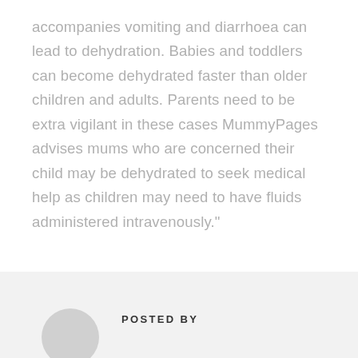accompanies vomiting and diarrhoea can lead to dehydration. Babies and toddlers can become dehydrated faster than older children and adults. Parents need to be extra vigilant in these cases MummyPages advises mums who are concerned their child may be dehydrated to seek medical help as children may need to have fluids administered intravenously."
POSTED BY